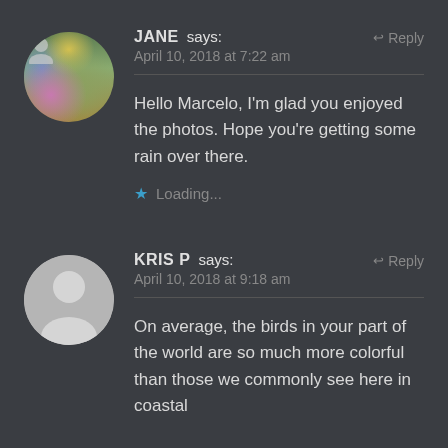[Figure (photo): Circular avatar photo of Jane showing colorful garden flowers including purple, pink and yellow blooms]
JANE says:
↩ Reply
April 10, 2018 at 7:22 am
Hello Marcelo, I'm glad you enjoyed the photos. Hope you're getting some rain over there.
★ Loading...
[Figure (illustration): Circular default avatar silhouette of Kris P, grey background with white person icon]
KRIS P says:
↩ Reply
April 10, 2018 at 9:18 am
On average, the birds in your part of the world are so much more colorful than those we commonly see here in coastal